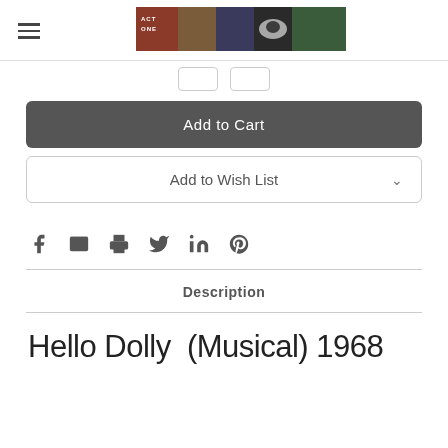ACT ONE - logo strip with show images
[Figure (screenshot): Top navigation bar with hamburger menu and Act One logo strip featuring musical show images]
Add to Cart
Add to Wish List
[Figure (other): Social sharing icons: Facebook, Email, Print, Twitter, LinkedIn, Pinterest]
Description
Hello Dolly  (Musical) 1968